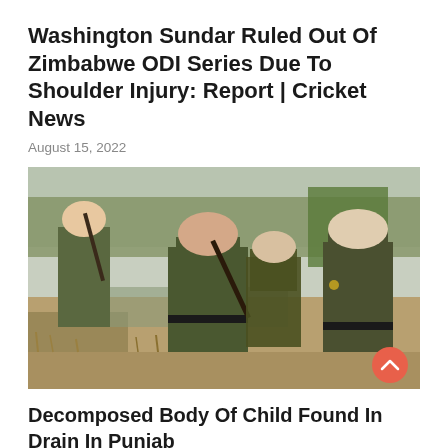Washington Sundar Ruled Out Of Zimbabwe ODI Series Due To Shoulder Injury: Report | Cricket News
August 15, 2022
[Figure (photo): Three Indian police officers wearing turbans and olive/khaki uniforms, carrying rifles, standing outdoors in a dry landscape with trees in the background.]
Decomposed Body Of Child Found In Drain In Punjab